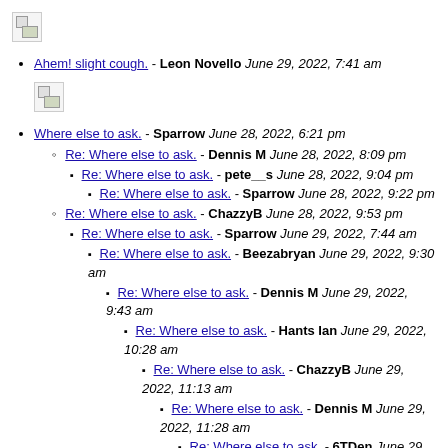[Figure (other): Broken image icon]
Ahem! slight cough. - Leon Novello June 29, 2022, 7:41 am
[Figure (other): Broken image icon]
Where else to ask. - Sparrow June 28, 2022, 6:21 pm
Re: Where else to ask. - Dennis M June 28, 2022, 8:09 pm
Re: Where else to ask. - pete__s June 28, 2022, 9:04 pm
Re: Where else to ask. - Sparrow June 28, 2022, 9:22 pm
Re: Where else to ask. - ChazzyB June 28, 2022, 9:53 pm
Re: Where else to ask. - Sparrow June 29, 2022, 7:44 am
Re: Where else to ask. - Beezabryan June 29, 2022, 9:30 am
Re: Where else to ask. - Dennis M June 29, 2022, 9:43 am
Re: Where else to ask. - Hants Ian June 29, 2022, 10:28 am
Re: Where else to ask. - ChazzyB June 29, 2022, 11:13 am
Re: Where else to ask. - Dennis M June 29, 2022, 11:28 am
Re: Where else to ask. - 6TDen June 29, 2022, 12:53 pm
Re: Where else to ask. - Lannis June 29, 2022, 9:57 pm
Re: Where else to ask. - JERRY June 29, 2022, 2:43 pm
Re: Where else to ask. - Tonupdave June 29,